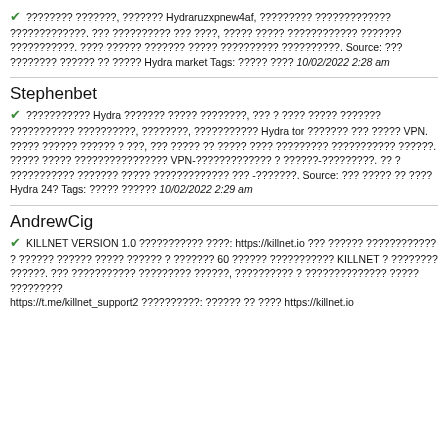✓ ???????? ???????, ??????? Hydraruzxpnew4af, ????????? ????????????? ?????????????. ??? ?????????? ??? ????, ????? ????? ???????????? ??????? ???????????. ???? ?????? ??????? ????? ?????????? ??????????. Source: ??? ???????? ?????? ?? ????? Hydra market Tags: ????? ???? 10/02/2022 2:28 am
✓ ??????????? Hydra ??????? ????? ????????, ??? ? ???? ????? ??????? ??????????? ??????????, ????????, ??????????? Hydra tor ??????? ??? ????? VPN. ????? ?????? ?????? ? ???, ??? ????? ?? ????? ???? ????????? ??????????? ??????. ????? ????? ???????????????? VPN-????????????? ? ??????-?????????. ?? ? ??????????? ??????? ????? ????????????? ??? -???????. Source: ??? ????? ?? ???? Hydra 24? Tags: ????? ?????? 10/02/2022 2:29 am
Stephenbet
AndrewCig
✓ KILLNET VERSION 1.0 ??????????? ????: https://killnet.io ??? ?????? ???????????? ? ?????? ?????? ????? ?????? ? ??????? 60 ?????? ??????????? KILLNET ? ???????? ??????. ??? ??????????? ????????? ??????, ?????????? ? ?????????????? ????? ????????? https://t.me/killnet_support2 ??????????: ?????? ?? ???? https://killnet.io